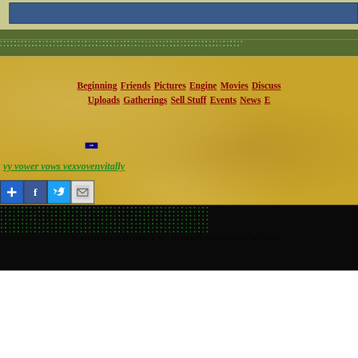[Figure (screenshot): Website UI screenshot with blue header bar, olive/green top strip, binary code strips in green on dark background, sandy/gold textured middle area with navigation links and green italic text, social media share buttons (add, Facebook, Twitter, email), and bottom binary code strip on black background.]
1010010 11010100 0101010 010110 10010101 0010010101 1010 0001100 01100 01100 11010 01000 10001001111 101 0001000
Beginning Friends Pictures Engine Movies Discuss Uploads Gatherings Sell Stuff Events News E
ads
vy vower vows vexvovenvitally
[Figure (infographic): Social share buttons: plus/add button (blue), Facebook button (blue), Twitter button (light blue), Email button (gray with envelope icon)]
010101010101010101010 10101001010101010101 010 100 10 0 101 010 10 10 10101